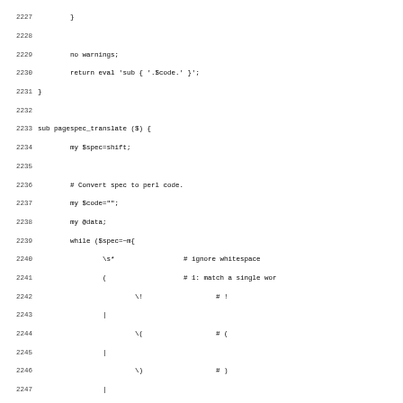Source code listing lines 2227-2259 showing Perl subroutine pagespec_translate with regex parsing logic